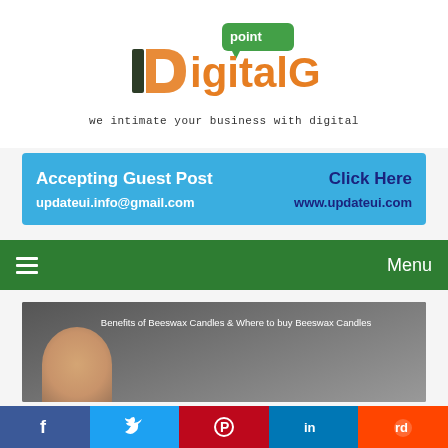[Figure (logo): DigitalGpoint logo with green speech bubble containing 'point', orange and dark D letter mark, text 'DigitalG' in orange/green, tagline 'we intimate your business with digital']
[Figure (infographic): Blue banner ad: 'Accepting Guest Post' on left, 'Click Here' on right in dark blue, 'updateui.info@gmail.com' on left, 'www.updateui.com' on right]
[Figure (screenshot): Green navigation bar with hamburger menu icon on left and 'Menu' text on right]
[Figure (photo): Article thumbnail image with text overlay 'Benefits of Beeswax Candles & Where to buy Beeswax Candles', shows partial face/person in background]
[Figure (infographic): Social share buttons row: Facebook (blue), Twitter (light blue), Pinterest (red), LinkedIn (dark blue), Reddit (orange)]